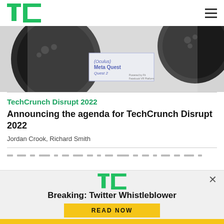TechCrunch
[Figure (photo): Close-up photo of Oculus Meta Quest 2 controllers and headset accessories on a white background]
TechCrunch Disrupt 2022
Announcing the agenda for TechCrunch Disrupt 2022
Jordan Crook, Richard Smith
[Figure (screenshot): TechCrunch modal advertisement overlay with TC logo, headline 'Breaking: Twitter Whistleblower' and yellow READ NOW button]